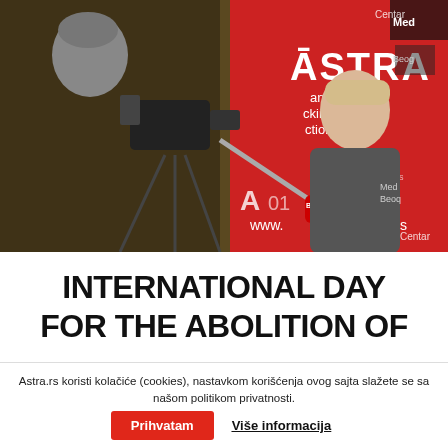[Figure (photo): Press conference scene: a cameraperson filming a woman being interviewed in front of an ASTRA anti-trafficking action banner and Media Center Belgrade backdrop]
INTERNATIONAL DAY FOR THE ABOLITION OF
Astra.rs koristi kolačiće (cookies), nastavkom korišćenja ovog sajta slažete se sa našom politikom privatnosti.  Prihvatam  Više informacija